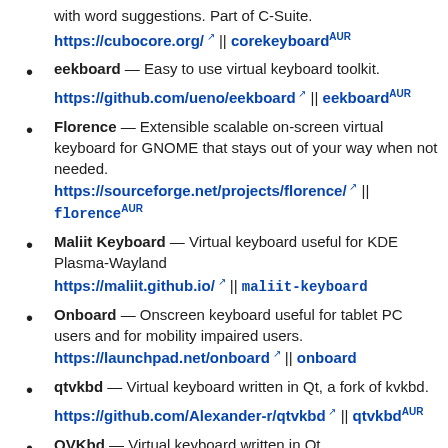with word suggestions. Part of C-Suite. https://cubocore.org/ || corekeyboard AUR
eekboard — Easy to use virtual keyboard toolkit. https://github.com/ueno/eekboard || eekboard AUR
Florence — Extensible scalable on-screen virtual keyboard for GNOME that stays out of your way when not needed. https://sourceforge.net/projects/florence/ || florence AUR
Maliit Keyboard — Virtual keyboard useful for KDE Plasma-Wayland https://maliit.github.io/ || maliit-keyboard
Onboard — Onscreen keyboard useful for tablet PC users and for mobility impaired users. https://launchpad.net/onboard || onboard
qtvkbd — Virtual keyboard written in Qt, a fork of kvkbd. https://github.com/Alexander-r/qtvkbd || qtvkbd AUR
QVKbd — Virtual keyboard written in Qt.